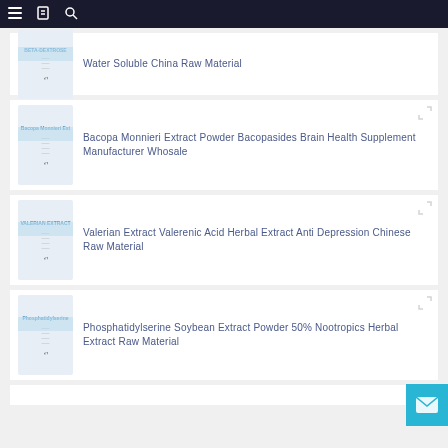Navigation bar with menu, bookmark, and search icons
Water Soluble China Raw Material
Bacopa Monnieri Extract Powder Bacopasides Brain Health Supplement Manufacturer Whosale
Valerian Extract Valerenic Acid Herbal Extract Anti Depression Chinese Raw Material
Phosphatidylserine Soybean Extract Powder 50% Nootropics Herbal Extract Raw Material